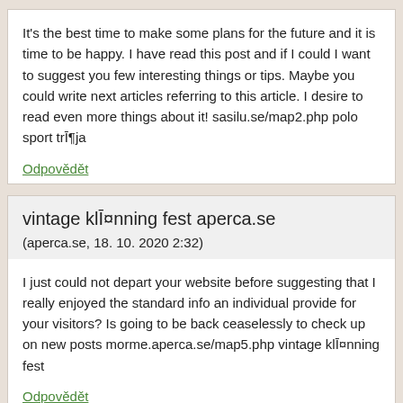It's the best time to make some plans for the future and it is time to be happy. I have read this post and if I could I want to suggest you few interesting things or tips. Maybe you could write next articles referring to this article. I desire to read even more things about it! sasilu.se/map2.php polo sport trĪ¶ja
Odpovědět
vintage klĪ¤nning fest aperca.se
(aperca.se, 18. 10. 2020 2:32)
I just could not depart your website before suggesting that I really enjoyed the standard info an individual provide for your visitors? Is going to be back ceaselessly to check up on new posts morme.aperca.se/map5.php vintage klĪ¤nning fest
Odpovědět